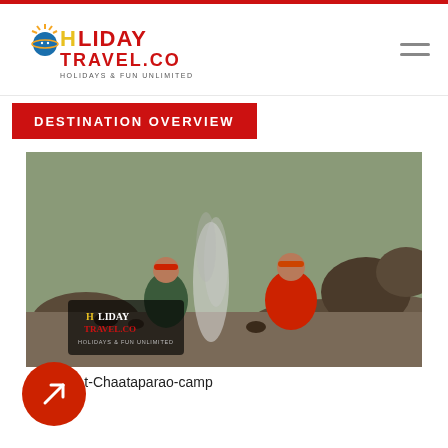Holiday Travel.co — Holidays & Fun Unlimited
DESTINATION OVERVIEW
[Figure (photo): Two people sitting by a bonfire at Chaataparao camp, rocky terrain in the background, with Holiday Travel.co logo watermark on the photo]
Bonfire-At-Chaataparao-camp
[Figure (other): Red circular contact/link button with a diagonal arrow/link icon]